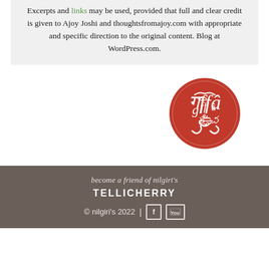Excerpts and links may be used, provided that full and clear credit is given to Ajoy Joshi and thoughtsfromajoy.com with appropriate and specific direction to the original content. Blog at WordPress.com.
[Figure (logo): Red circular logo with white decorative script lettering, appears to be a stylized monogram for Nilgiri's Tellicherry brand]
become a friend of nilgiri's
TELLICHERRY
© nilgiri's 2022 | f [YouTube icon]